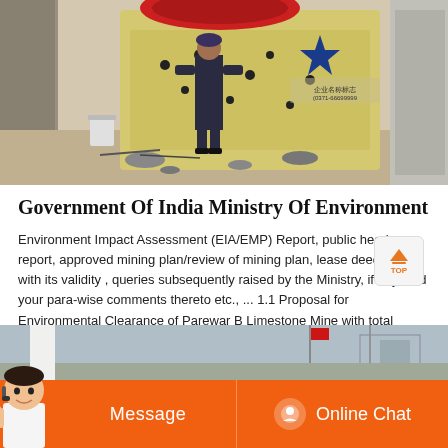[Figure (photo): Worker in dark uniform standing in front of large yellow industrial mining/crushing equipment with a blue star logo. Rocks and debris on ground, bucket nearby.]
Government Of India Ministry Of Environment
Environment Impact Assessment (EIA/EMP) Report, public hearing report, approved mining plan/review of mining plan, lease deed /LoI with its validity , queries subsequently raised by the Ministry, if any, and your para-wise comments thereto etc., ... 1.1 Proposal for Environmental Clearance of Parewar B Limestone Mine with total excavation of 14 ...
[Figure (photo): Bottom partial photo showing outdoor scene with flags and industrial equipment, partially visible. Orange chat bar overlay with Message and Online Chat buttons, and a customer service avatar on the left.]